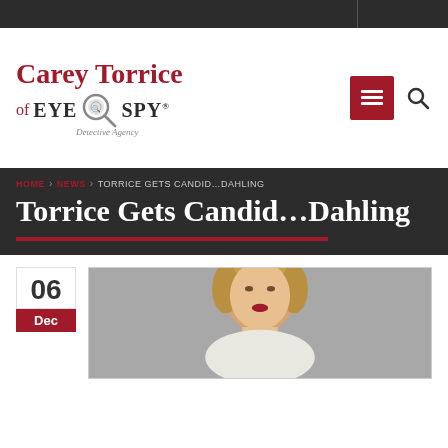[Figure (logo): Carey Torrice of Eye Spy Detective Agency logo with magnifying glass]
HOME > NEWS > TORRICE GETS CANDID...DAHLING
Torrice Gets Candid…Dahling
06
Dec
[Figure (photo): Portrait photo of a blonde woman resembling Grace Kelly against a grey background]